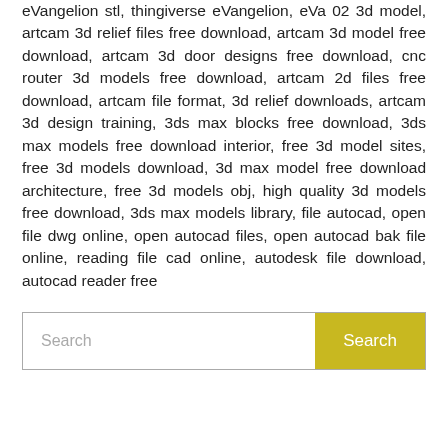eVangelion stl, thingiverse eVangelion, eVa 02 3d model, artcam 3d relief files free download, artcam 3d model free download, artcam 3d door designs free download, cnc router 3d models free download, artcam 2d files free download, artcam file format, 3d relief downloads, artcam 3d design training, 3ds max blocks free download, 3ds max models free download interior, free 3d model sites, free 3d models download, 3d max model free download architecture, free 3d models obj, high quality 3d models free download, 3ds max models library, file autocad, open file dwg online, open autocad files, open autocad bak file online, reading file cad online, autodesk file download, autocad reader free
[Figure (other): Search bar with text input field placeholder 'Search' and a yellow 'Search' button]